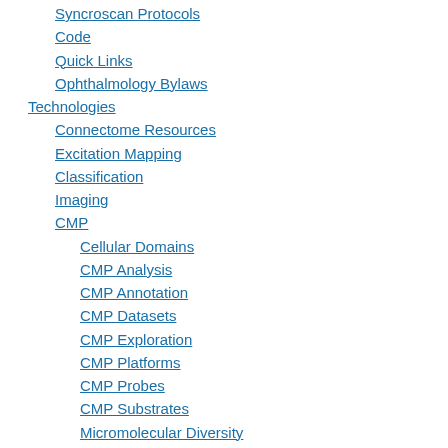Syncroscan Protocols
Code
Quick Links
Ophthalmology Bylaws
Technologies
Connectome Resources
Excitation Mapping
Classification
Imaging
CMP
Cellular Domains
CMP Analysis
CMP Annotation
CMP Datasets
CMP Exploration
CMP Platforms
CMP Probes
CMP Substrates
Micromolecular Diversity